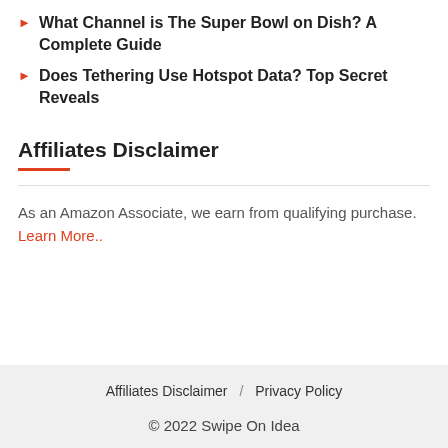What Channel is The Super Bowl on Dish? A Complete Guide
Does Tethering Use Hotspot Data? Top Secret Reveals
Affiliates Disclaimer
As an Amazon Associate, we earn from qualifying purchase. Learn More..
Affiliates Disclaimer / Privacy Policy
© 2022 Swipe On Idea